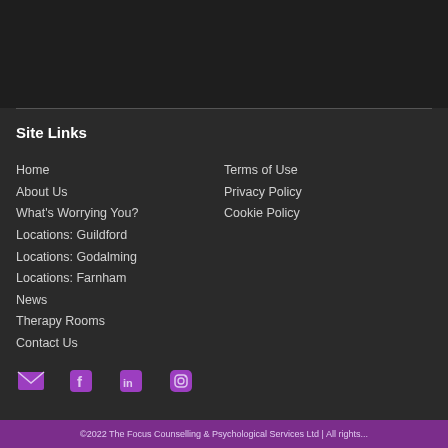Site Links
Home
About Us
What's Worrying You?
Locations: Guildford
Locations: Godalming
Locations: Farnham
News
Therapy Rooms
Contact Us
Terms of Use
Privacy Policy
Cookie Policy
[Figure (other): Social media icons: email, Facebook, LinkedIn, Instagram]
©2022 The Focus Counselling & Psychological Services Ltd | All rights...